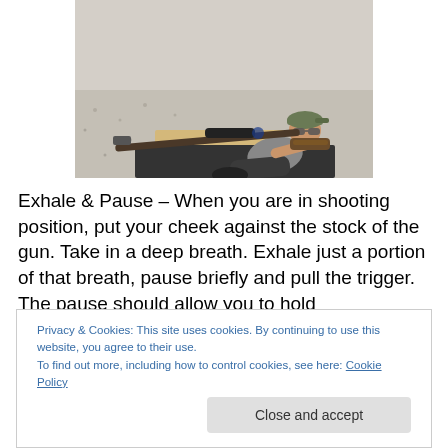[Figure (photo): A woman in a cap and sunglasses lying/sitting on a mat at a shooting range, aiming a rifle with a scope.]
Exhale & Pause – When you are in shooting position, put your cheek against the stock of the gun. Take in a deep breath. Exhale just a portion of that breath, pause briefly and pull the trigger. The pause should allow you to hold
Privacy & Cookies: This site uses cookies. By continuing to use this website, you agree to their use.
To find out more, including how to control cookies, see here: Cookie Policy
Close and accept